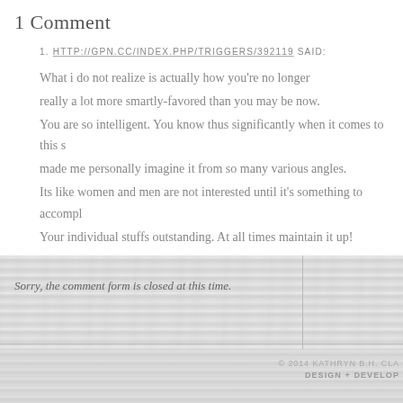1 Comment
1. HTTP://GPN.CC/INDEX.PHP/TRIGGERS/392119 SAID:
What i do not realize is actually how you're no longer really a lot more smartly-favored than you may be now. You are so intelligent. You know thus significantly when it comes to this s made me personally imagine it from so many various angles. Its like women and men are not interested until it's something to accompl. Your individual stuffs outstanding. At all times maintain it up!
Sorry, the comment form is closed at this time.
© 2014 KATHRYN B.H. CLA
DESIGN + DEVELOP